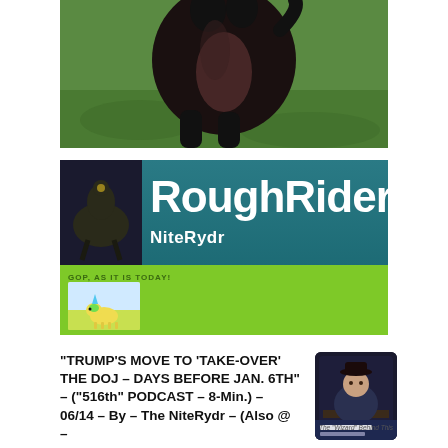[Figure (photo): Photo of a dark-colored dog or animal from behind on green grass]
[Figure (screenshot): RoughRider NiteRydr social media banner with teal background, large white bold text 'RoughRider', subtitle 'NiteRydr', green section below with GOP text and a small unicorn toy image]
"TRUMP'S MOVE TO 'TAKE-OVER' THE DOJ – DAYS BEFORE JAN. 6TH" – ("516th" PODCAST – 8-Min.) – 06/14 – By – The NiteRydr – (Also @ –
[Figure (photo): PaulRevereRides podcast thumbnail showing a person in a hat sitting at a table, with text 'PaulRevereRides @paulreverender' and caption 'The Wizard Behind This']